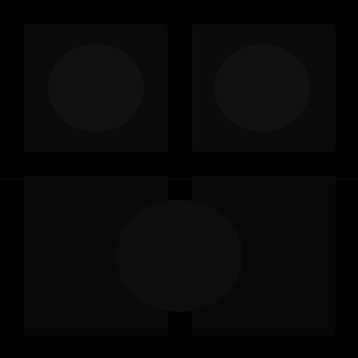[Figure (photo): A nearly entirely black image with very faint, barely visible dark shapes or silhouettes against a black background. The image appears to be an extremely underexposed or dark photograph with minimal visible detail.]